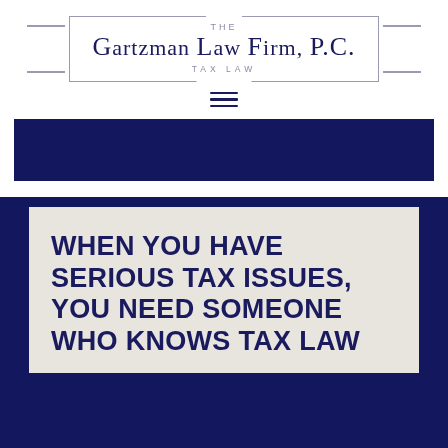[Figure (logo): The Gartzman Law Firm, P.C. Tax Law logo with rectangular border]
[Figure (other): Hamburger menu icon (three horizontal lines)]
[Figure (other): Dark navy blue banner bar]
WHEN YOU HAVE SERIOUS TAX ISSUES, YOU NEED SOMEONE WHO KNOWS TAX LAW